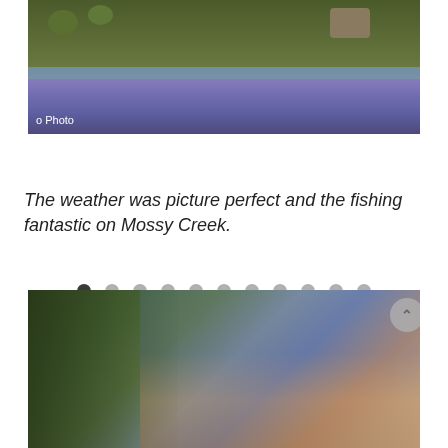[Figure (photo): Aerial or landscape photo showing lavender or purple flowering plants with green shrubs and rocks in background, with 'Photo' label in bottom left corner]
[Figure (other): Pagination dots row with 11 dots, first dot dark/active, rest light gray]
The weather was picture perfect and the fishing fantastic on Mossy Creek.
[Figure (photo): Two people (fishermen) smiling together outdoors near willow trees, both wearing caps and sunglasses, one in blue shirt with neck gaiter, other in dark cap with sunglasses, with a scroll-up button visible on right edge]